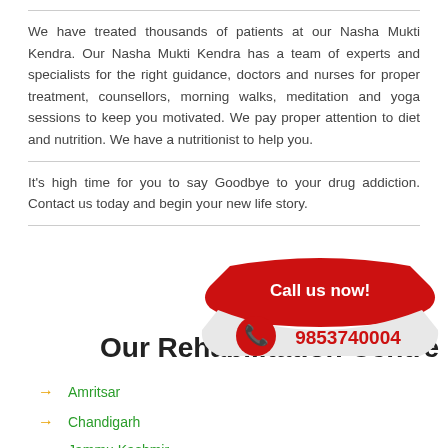We have treated thousands of patients at our Nasha Mukti Kendra. Our Nasha Mukti Kendra has a team of experts and specialists for the right guidance, doctors and nurses for proper treatment, counsellors, morning walks, meditation and yoga sessions to keep you motivated. We pay proper attention to diet and nutrition. We have a nutritionist to help you.
It's high time for you to say Goodbye to your drug addiction. Contact us today and begin your new life story.
[Figure (infographic): Red call-to-action badge with phone icon reading 'Call us now!' and phone number 9853740004]
Our Rehabilitation Centre
Amritsar
Chandigarh
Jammu Kashmir